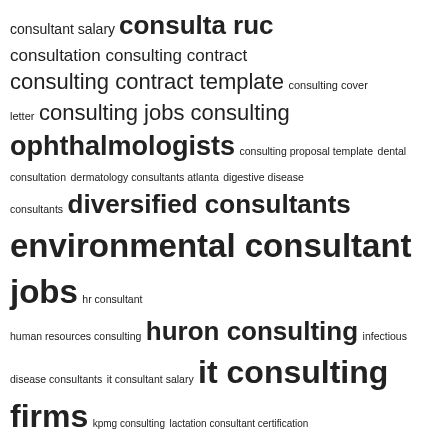[Figure (infographic): A word cloud containing consulting-related terms in various font sizes, ranging from small (e.g., 'consulting cover letter', 'dental consultation') to very large (e.g., 'leasing consultant leasing', 'mckinsey consulting', 'consulta ruc'). Terms include: consultant salary, consulta ruc, consultation, consulting contract, consulting contract template, consulting cover letter, consulting jobs, consulting ophthalmologists, consulting proposal template, dental consultation, dermatology consultants atlanta, digestive disease consultants, diversified consultants, environmental consultant jobs, hr consultant, human resources consulting, huron consulting, infectious disease consultants, it consultant salary, it consulting firms, kpmg consulting, lactation consultant certification, leasing consultant leasing, consultant jobs, legal consultant, marketing consultant, maser consulting, mckinsey consulting, midwest eye consultants.]